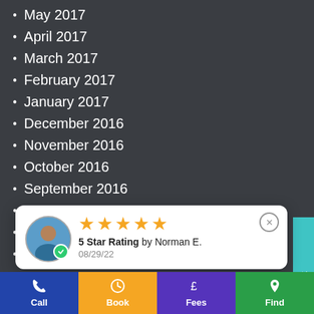May 2017
April 2017
March 2017
February 2017
January 2017
December 2016
November 2016
October 2016
September 2016
August 2016
July 2016
June 2016
[Figure (screenshot): Review popup card showing 5 gold stars, '5 Star Rating by Norman E.' on 08/29/22, with user avatar and green checkmark badge]
February 2016
January 2016
Free Quick
Call | Book | Fees | Find